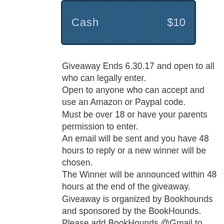[Figure (screenshot): A digital cash card graphic showing 'Cash $10' on a dark blue background with a grid texture pattern.]
Giveaway Ends 6.30.17 and open to all who can legally enter.
Open to anyone who can accept and use an Amazon or Paypal code.
Must be over 18 or have your parents permission to enter.
An email will be sent and you have 48 hours to reply or a new winner will be chosen.
The Winner will be announced within 48 hours at the end of the giveaway.
Giveaway is organized by Bookhounds and sponsored by the BookHounds.
Please add BookHounds @Gmail to your address book. You may also want to verify if...